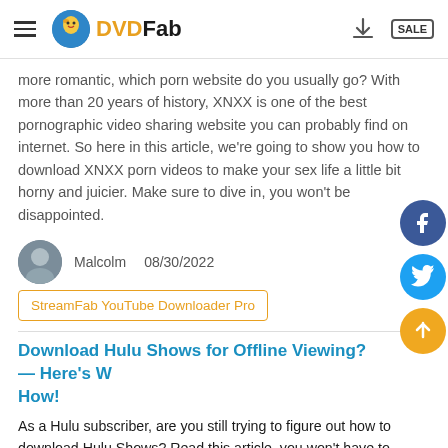DVDFab
more romantic, which porn website do you usually go? With more than 20 years of history, XNXX is one of the best pornographic video sharing website you can probably find on internet. So here in this article, we're going to show you how to download XNXX porn videos to make your sex life a little bit horny and juicier. Make sure to dive in, you won't be disappointed.
Malcolm  08/30/2022
StreamFab YouTube Downloader Pro
Download Hulu Shows for Offline Viewing? — Here's W How!
As a Hulu subscriber, are you still trying to figure out how to download Hulu Shows? Read this article, you won't have to scratch your head anymore, because all you want to know about downloading Hulu shows will be answered with great details.